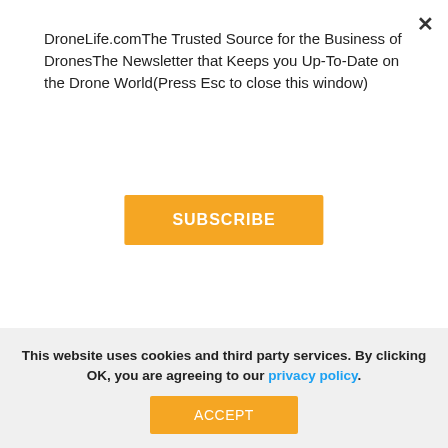DroneLife.comThe Trusted Source for the Business of DronesThe Newsletter that Keeps you Up-To-Date on the Drone World(Press Esc to close this window)
SUBSCRIBE
[Figure (screenshot): Social share buttons: Facebook Share with count 0, Tweet, LinkedIn Share]
Transportation Secretary Elaine Chao Addresses UAS Symposium, Asks Industry
This website uses cookies and third party services. By clicking OK, you are agreeing to our privacy policy.
ACCEPT